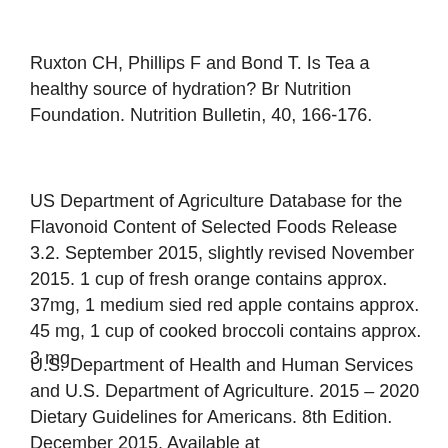Ruxton CH, Phillips F and Bond T. Is Tea a healthy source of hydration? Br Nutrition Foundation. Nutrition Bulletin, 40, 166-176.
US Department of Agriculture Database for the Flavonoid Content of Selected Foods Release 3.2. September 2015, slightly revised November 2015. 1 cup of fresh orange contains approx. 37mg, 1 medium sied red apple contains approx. 45 mg, 1 cup of cooked broccoli contains approx. 3 mg
U.S. Department of Health and Human Services and U.S. Department of Agriculture. 2015 – 2020 Dietary Guidelines for Americans. 8th Edition. December 2015. Available at